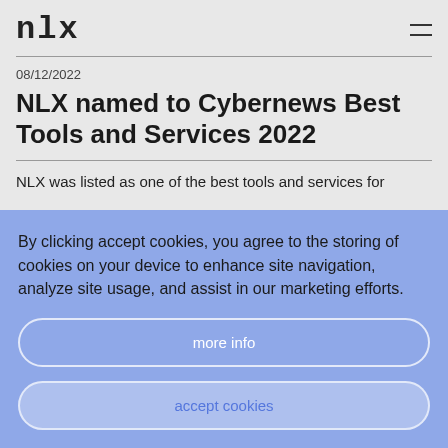nlx
08/12/2022
NLX named to Cybernews Best Tools and Services 2022
NLX was listed as one of the best tools and services for
By clicking accept cookies, you agree to the storing of cookies on your device to enhance site navigation, analyze site usage, and assist in our marketing efforts.
more info
accept cookies